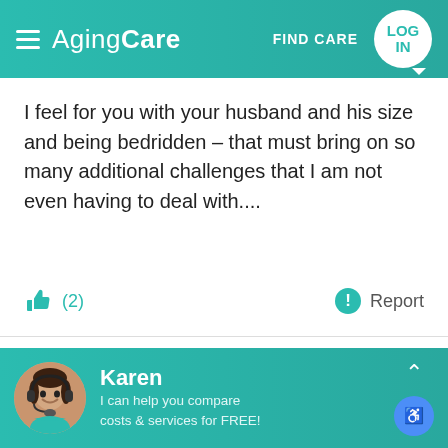AgingCare  FIND CARE  LOG IN
I feel for you with your husband and his size and being bedridden – that must bring on so many additional challenges that I am not even having to deal with....
(2)  Report
GardenArtist
Jul 2018
I think there are many others here who can give
Karen
I can help you compare costs & services for FREE!